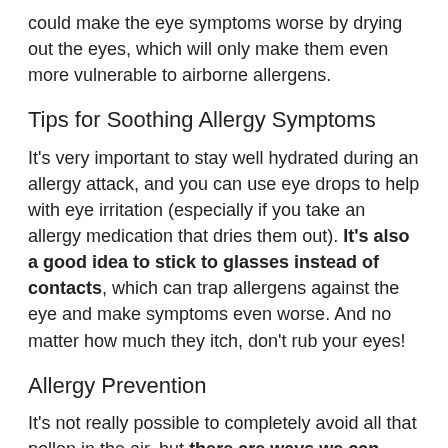could make the eye symptoms worse by drying out the eyes, which will only make them even more vulnerable to airborne allergens.
Tips for Soothing Allergy Symptoms
It's very important to stay well hydrated during an allergy attack, and you can use eye drops to help with eye irritation (especially if you take an allergy medication that dries them out). It's also a good idea to stick to glasses instead of contacts, which can trap allergens against the eye and make symptoms even worse. And no matter how much they itch, don't rub your eyes!
Allergy Prevention
It's not really possible to completely avoid all that pollen in the air, but there are ways we can minimize our exposure. Keep your windows shut and don't use window fans that can blow the pollen into the house. It's also a good idea to stay inside on windy days and wear